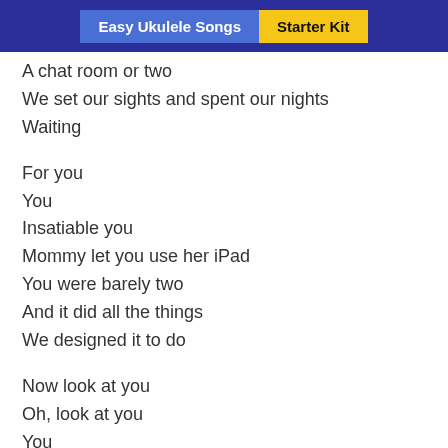Easy Ukulele Songs | Starter Kit
A chat room or two
We set our sights and spent our nights
Waiting
For you
You
Insatiable you
Mommy let you use her iPad
You were barely two
And it did all the things
We designed it to do
Now look at you
Oh, look at you
You
You